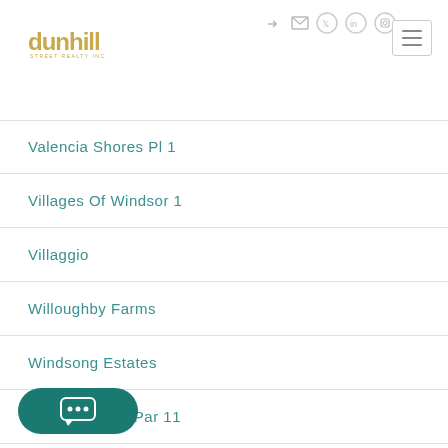[Figure (logo): Dunhill logo in gold with tagline text below]
[Figure (other): Navigation icons: login, mail, Twitter, LinkedIn, Instagram]
[Figure (other): Hamburger menu button (three horizontal lines)]
Valencia Shores Pl 1
Villages Of Windsor 1
Villaggio
Willoughby Farms
Windsong Estates
Winston Trails Par 11
[Figure (other): Teal chat button with three dots speech bubble icon]